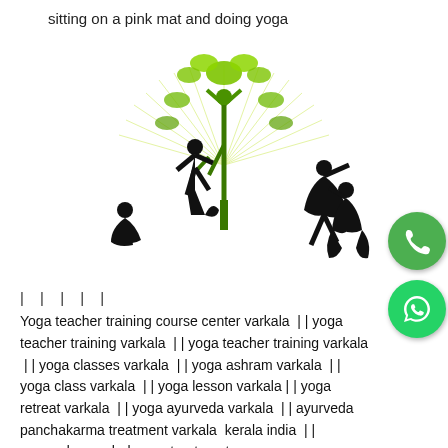sitting on a pink mat and doing yoga
[Figure (logo): Yoga logo with green tree and silhouettes of people in various yoga poses]
| | | | |
Yoga teacher training course center varkala  | | yoga teacher training varkala  | | yoga teacher training varkala  | | yoga classes varkala  | | yoga ashram varkala  | | yoga class varkala  | | yoga lesson varkala | | yoga retreat varkala  | | yoga ayurveda varkala  | | ayurveda panchakarma treatment varkala  kerala india  | | ayurveda panchakarma treatment